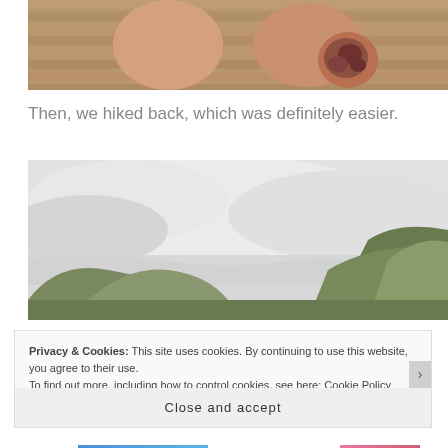[Figure (photo): Close-up photo of person's feet/legs on wooden deck planks, with a colorful tattoo visible on the right ankle/foot area]
Then, we hiked back, which was definitely easier.
[Figure (photo): Landscape photo of misty mountainous terrain with low clouds, green hills visible on the right side]
Privacy & Cookies: This site uses cookies. By continuing to use this website, you agree to their use.
To find out more, including how to control cookies, see here: Cookie Policy
Close and accept